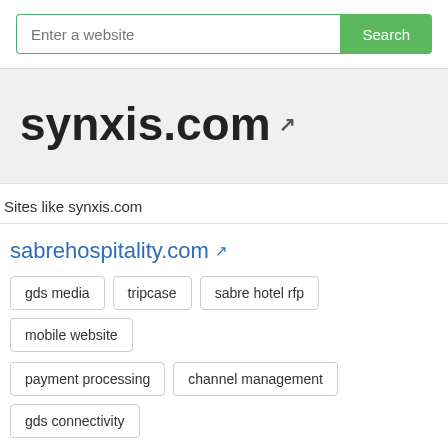[Figure (screenshot): Search bar with placeholder 'Enter a website' and green 'Search' button]
synxis.com ↗
Sites like synxis.com
sabrehospitality.com ↗
gds media
tripcase
sabre hotel rfp
mobile website
payment processing
channel management
gds connectivity